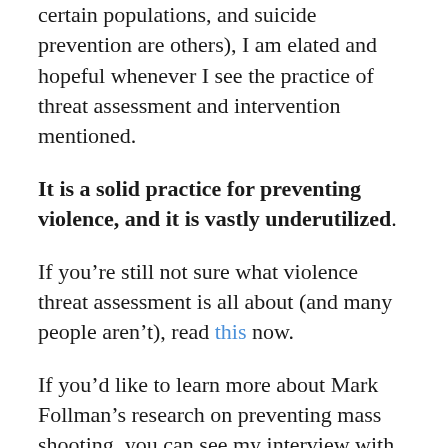certain populations, and suicide prevention are others), I am elated and hopeful whenever I see the practice of threat assessment and intervention mentioned.
It is a solid practice for preventing violence, and it is vastly underutilized.
If you’re still not sure what violence threat assessment is all about (and many people aren’t), read this now.
If you’d like to learn more about Mark Follman’s research on preventing mass shooting, you can see my interview with him here.
I have upcoming violence threat assessment